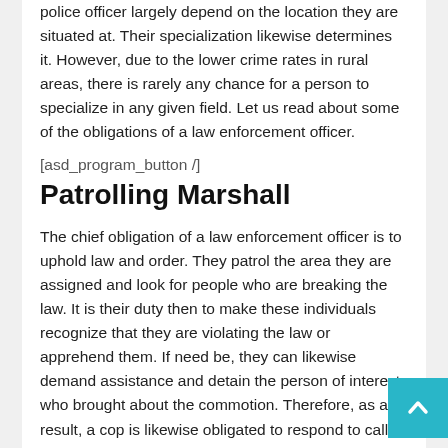police officer largely depend on the location they are situated at. Their specialization likewise determines it. However, due to the lower crime rates in rural areas, there is rarely any chance for a person to specialize in any given field. Let us read about some of the obligations of a law enforcement officer.
[asd_program_button /]
Patrolling Marshall
The chief obligation of a law enforcement officer is to uphold law and order. They patrol the area they are assigned and look for people who are breaking the law. It is their duty then to make these individuals recognize that they are violating the law or apprehend them. If need be, they can likewise demand assistance and detain the person of interest who brought about the commotion. Therefore, as a result, a cop is likewise obligated to respond to calls by other cops while out on patrol, even if the officer who is requesting help isn't in his assigned zone. They present the detainee in the court of law and let them handle the punishment of the criminal.